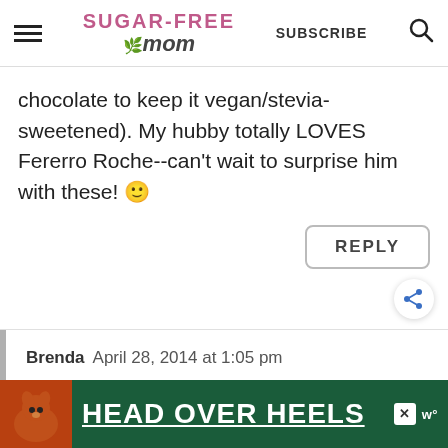Sugar-Free Mom | SUBSCRIBE
chocolate to keep it vegan/stevia-sweetened). My hubby totally LOVES Fererro Roche--can't wait to surprise him with these! 🙂
REPLY
Brenda  April 28, 2014 at 1:05 pm
[Figure (photo): Advertisement banner with dog image and 'HEAD OVER HEELS' text on green background]